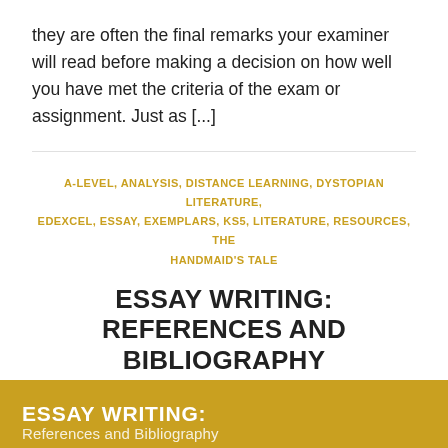they are often the final remarks your examiner will read before making a decision on how well you have met the criteria of the exam or assignment. Just as [...]
A-LEVEL, ANALYSIS, DISTANCE LEARNING, DYSTOPIAN LITERATURE, EDEXCEL, ESSAY, EXEMPLARS, KS5, LITERATURE, RESOURCES, THE HANDMAID'S TALE
ESSAY WRITING: REFERENCES AND BIBLIOGRAPHY
1 COMMENT
ESSAY WRITING: